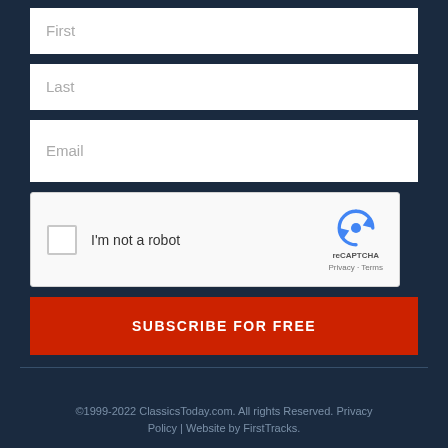[Figure (screenshot): Web form with First name, Last name, Email input fields, a reCAPTCHA widget, and a Subscribe for Free button, on a dark navy background]
©1999-2022 ClassicsToday.com. All rights Reserved. Privacy Policy | Website by FirstTracks.